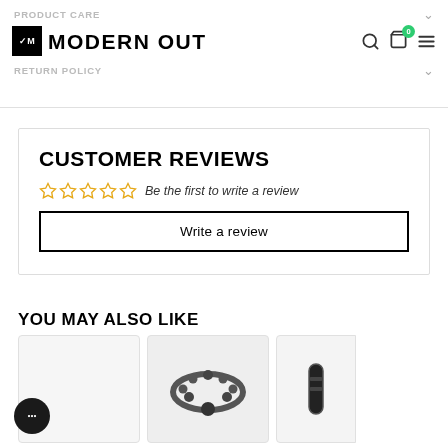PRODUCT CARE
Modern Out — Logo and navigation bar
RETURN POLICY
CUSTOMER REVIEWS
Be the first to write a review
Write a review
YOU MAY ALSO LIKE
[Figure (photo): Product card 1 — empty/blank]
[Figure (photo): Product card 2 — bracelet with dark beads]
[Figure (photo): Product card 3 — partially visible]
[Figure (other): Chat support bubble button at bottom left]